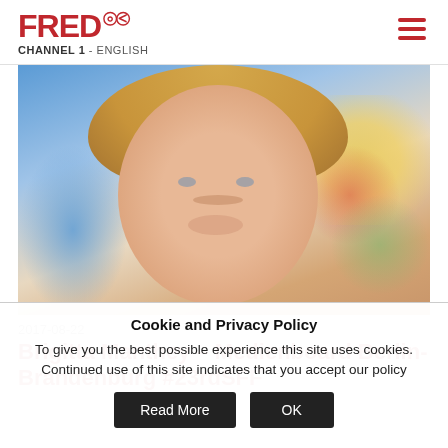FRED CHANNEL 1 - ENGLISH
[Figure (photo): Portrait photo of Brigitta Manthey, a middle-aged woman with blonde bangs and bob haircut, smiling, with colorful blurred background featuring blue, yellow, red, and green patches]
2017-08-22
Brigitta Manthey – Medienboard Berlin-Brandenburg #23rdSFF
Cookie and Privacy Policy
To give you the best possible experience this site uses cookies. Continued use of this site indicates that you accept our policy